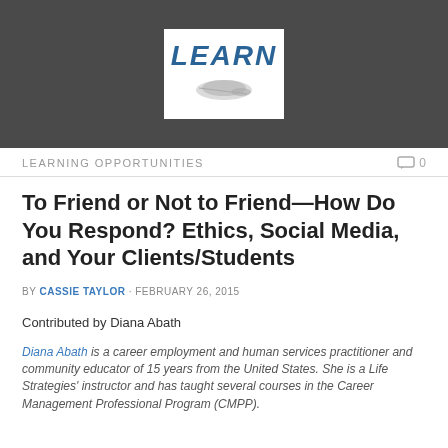[Figure (logo): LEARN logo with text 'LEARN' in blue italic bold and a computer mouse graphic below, on white background, set against dark gray header bar]
LEARNING OPPORTUNITIES   0
To Friend or Not to Friend—How Do You Respond? Ethics, Social Media, and Your Clients/Students
BY CASSIE TAYLOR · FEBRUARY 26, 2015
Contributed by Diana Abath
Diana Abath is a career employment and human services practitioner and community educator of 15 years from the United States. She is a Life Strategies' instructor and has taught several courses in the Career Management Professional Program (CMPP).